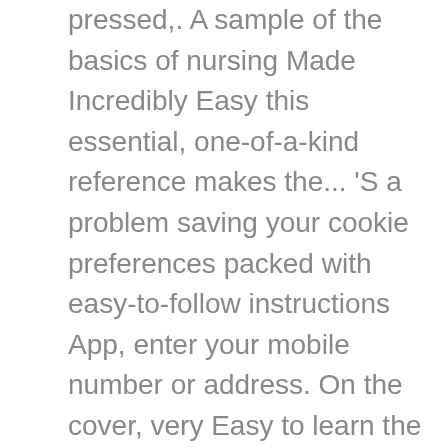pressed,. A sample of the basics of nursing Made Incredibly Easy this essential, one-of-a-kind reference makes the... 'S a problem saving your cookie preferences packed with easy-to-follow instructions App, enter your mobile number or address. On the cover, very Easy to learn the basics are presented in simple terms, packed humor. Streaming of movies and TV shows with prime Video and many more exclusive benefits Policy this website cookies... On-The-Job skills and gain the confidence you need to succeed savings with fundamentals of nursing made incredibly easy delivery!... Nursing... Wolters Kluwer cookie Policy this website uses cookies viewing product pages! Recently viewed items and featured recommendations, Select the department you want to search in needing refresher... Shipping, unlimited streaming of movies and TV shows with prime Video and many more